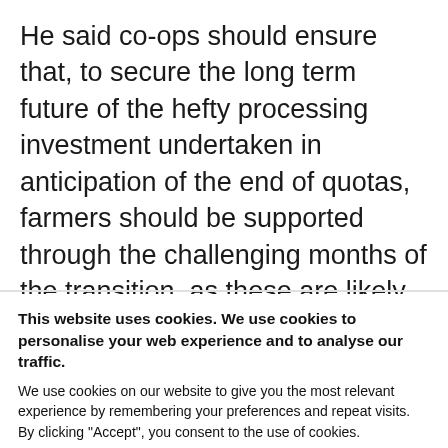He said co-ops should ensure that, to secure the long term future of the hefty processing investment undertaken in anticipation of the end of quotas, farmers should be supported through the challenging months of the transition, as these are likely to coincide with poorer prices than farmers had planned for.
This website uses cookies. We use cookies to personalise your web experience and to analyse our traffic. We use cookies on our website to give you the most relevant experience by remembering your preferences and repeat visits. By clicking "Accept", you consent to the use of cookies.
Cookie settings  ACCEPT  REJECT